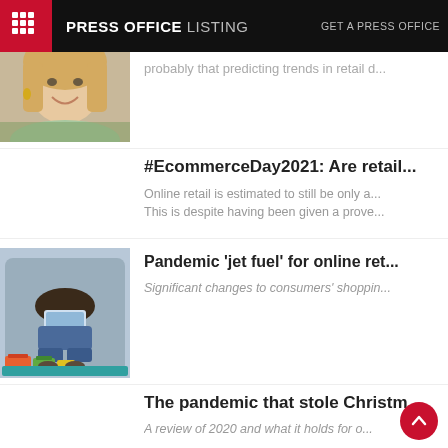PRESS OFFICE LISTING | GET A PRESS OFFICE
[Figure (photo): Cropped photo of a smiling blonde woman outdoors]
probably that predicting trends in retail d...
#EcommerceDay2021: Are retail...
Online retail is estimated to still be only a... This is despite having been given a prove...
[Figure (photo): Overhead view of a person sitting on a sofa using a laptop with shopping bags on the floor]
Pandemic 'jet fuel' for online ret...
Significant changes to consumers' shoppin...
The pandemic that stole Christm...
A review of 2020 and what it holds for o...